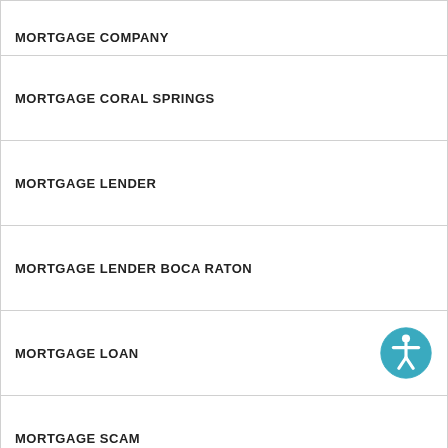MORTGAGE COMPANY
MORTGAGE CORAL SPRINGS
MORTGAGE LENDER
MORTGAGE LENDER BOCA RATON
MORTGAGE LOAN
MORTGAGE SCAM
MORTGAGE SERVICES
MORTGAGES
PALM BEACH COUNTY